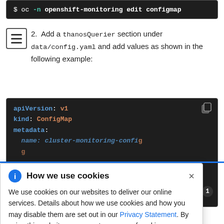[Figure (screenshot): Terminal code block showing: $ oc -n openshift-monitoring edit configmap]
[Figure (illustration): Hamburger/menu icon button]
2. Add a thanosQuerier section under data/config.yaml and add values as shown in the following example:
[Figure (screenshot): Code block showing YAML: apiVersion: v1, kind: ConfigMap, metadata: (partially visible lines below)]
[Figure (screenshot): Cookie consent dialog overlay: 'How we use cookies' with info icon and close button. Body: We use cookies on our websites to deliver our online services. Details about how we use cookies and how you may disable them are set out in our Privacy Statement. By using this website you agree to our use of cookies.]
ing and false to disable logging. The default value is false.